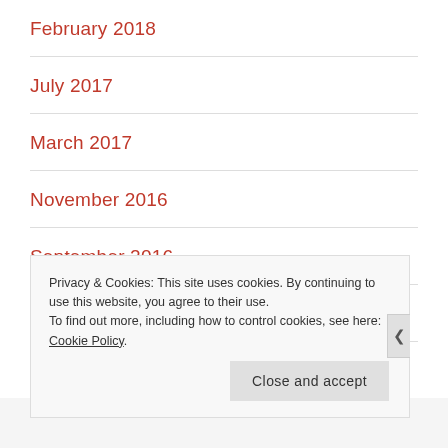February 2018
July 2017
March 2017
November 2016
September 2016
June 2016
May 2016
Privacy & Cookies: This site uses cookies. By continuing to use this website, you agree to their use.
To find out more, including how to control cookies, see here: Cookie Policy